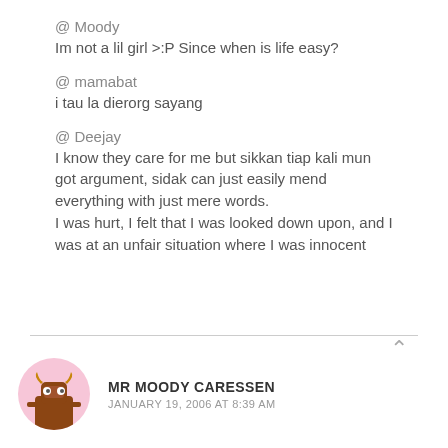@ Moody
Im not a lil girl >:P Since when is life easy?
@ mamabat
i tau la dierorg sayang
@ Deejay
I know they care for me but sikkan tiap kali mun got argument, sidak can just easily mend everything with just mere words.
I was hurt, I felt that I was looked down upon, and I was at an unfair situation where I was innocent
MR MOODY CARESSEN
JANUARY 19, 2006 AT 8:39 AM